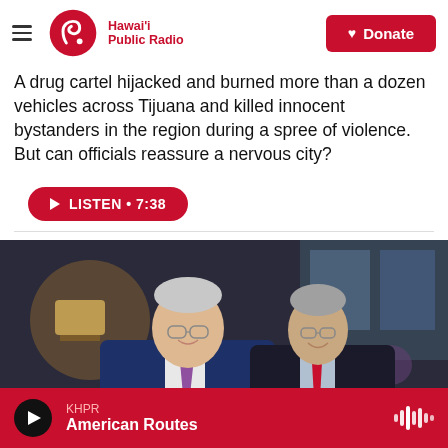Hawai'i Public Radio | Donate
A drug cartel hijacked and burned more than a dozen vehicles across Tijuana and killed innocent bystanders in the region during a spree of violence. But can officials reassure a nervous city?
[Figure (other): Listen button: LISTEN • 7:38]
[Figure (photo): Two older men in suits smiling at a formal event. Left man wearing blue suit with purple tie, right man wearing dark suit with red tie and name badge.]
KHPR — American Routes